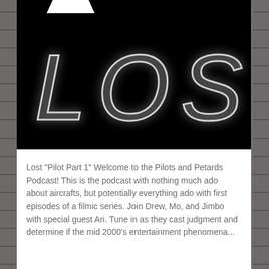[Figure (photo): Black background with large white blurry/glowing text reading 'LOST', the TV show title card. A small white notch/tab appears at the top center of the image.]
Lost "Pilot Part 1" Welcome to the Pilots and Petards Podcast! This is the podcast with nothing much ado about aircrafts, but potentially everything ado with first episodes of a filmic series. Join Drew, Mo, and Jimbo with special guest Ari. Tune in as they cast judgment and determine if the mid 2000's entertainment phenomena...